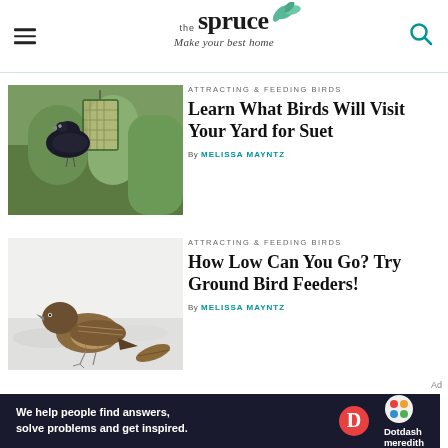the spruce — Make your best home
[Figure (photo): A dark bird (starling) perched on a green wire suet feeder hanging outdoors with green foliage background]
ATTRACTING & FEEDING BIRDS
Learn What Birds Will Visit Your Yard for Suet
By MELISSA MAYNTZ
[Figure (photo): A small brown sparrow standing on snow-covered ground with dead leaves nearby]
ATTRACTING & FEEDING BIRDS
How Low Can You Go? Try Ground Bird Feeders!
By MELISSA MAYNTZ
[Figure (logo): Dotdash Meredith logo with D circle and colorful flower icon]
We help people find answers, solve problems and get inspired.